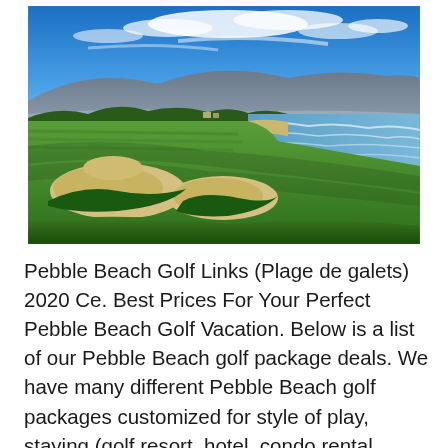[Figure (photo): Aerial view of Pebble Beach Golf Links showing the green fairway with sand bunkers in the foreground, the coastline with ocean waves, and mountains in the background under a blue sky with white clouds.]
Pebble Beach Golf Links (Plage de galets) 2020 Ce. Best Prices For Your Perfect Pebble Beach Golf Vacation. Below is a list of our Pebble Beach golf package deals. We have many different Pebble Beach golf packages customized for style of play, staying (golf resort, hotel, condo rental, vacation home), location and budget